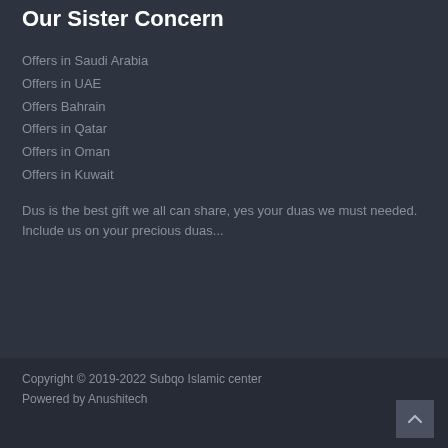Our Sister Concern
Offers in Saudi Arabia
Offers in UAE
Offers Bahrain
Offers in Qatar
Offers in Oman
Offers in Kuwait
Dus is the best gift we all can share, yes your duas we must needed. Include us on your precious duas...
Copyright © 2019-2022 Subqo Islamic center
Powered by Anushitech